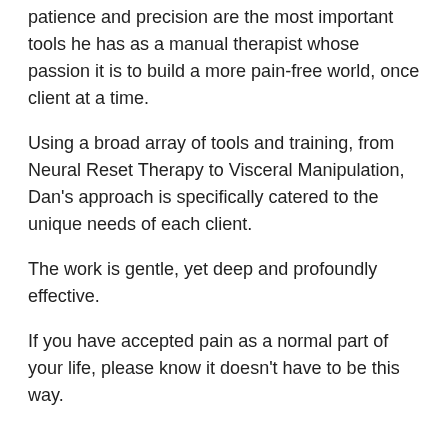patience and precision are the most important tools he has as a manual therapist whose passion it is to build a more pain-free world, once client at a time.
Using a broad array of tools and training, from Neural Reset Therapy to Visceral Manipulation, Dan's approach is specifically catered to the unique needs of each client.
The work is gentle, yet deep and profoundly effective.
If you have accepted pain as a normal part of your life, please know it doesn't have to be this way.
Dahlhamer J, Lucas J, Zelaya C, Nahin R, Mackey S, DeBar L, Kerns R, Von Korff M, Porter L, Helmick C. Prevalence of chronic pain and high impact chronic